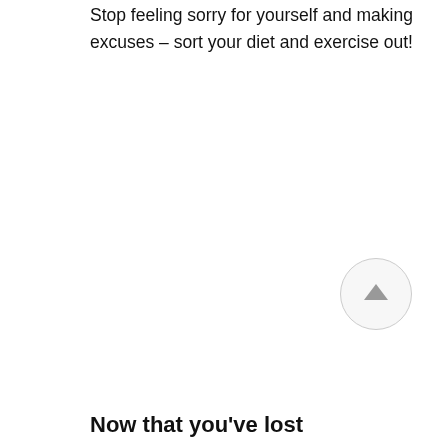Stop feeling sorry for yourself and making excuses – sort your diet and exercise out!
[Figure (other): Circular scroll-to-top button with an upward arrow icon]
Now that you've lost